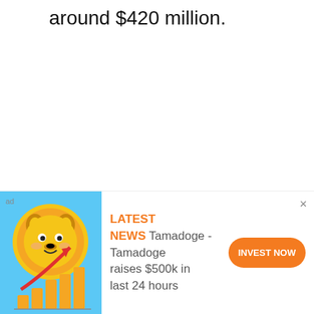around $420 million.
Cryptocurrency
Technical Analysis
Ampleforth (AMPL)
Fundamental Analysis
How do you rate this article?
[Figure (illustration): Ad banner showing a cartoon dog coin with rising bar chart and arrow, promoting Tamadoge. Text: LATEST NEWS - Tamadoge - Tamadoge raises $500k in last 24 hours. Orange INVEST NOW button.]